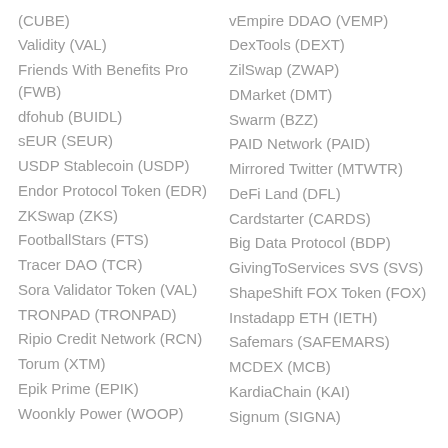(CUBE)
Validity (VAL)
Friends With Benefits Pro (FWB)
dfohub (BUIDL)
sEUR (SEUR)
USDP Stablecoin (USDP)
Endor Protocol Token (EDR)
ZKSwap (ZKS)
FootballStars (FTS)
Tracer DAO (TCR)
Sora Validator Token (VAL)
TRONPAD (TRONPAD)
Ripio Credit Network (RCN)
Torum (XTM)
Epik Prime (EPIK)
Woonkly Power (WOOP)
vEmpire DDAO (VEMP)
DexTools (DEXT)
ZilSwap (ZWAP)
DMarket (DMT)
Swarm (BZZ)
PAID Network (PAID)
Mirrored Twitter (MTWTR)
DeFi Land (DFL)
Cardstarter (CARDS)
Big Data Protocol (BDP)
GivingToServices SVS (SVS)
ShapeShift FOX Token (FOX)
Instadapp ETH (IETH)
Safemars (SAFEMARS)
MCDEX (MCB)
KardiaChain (KAI)
Signum (SIGNA)